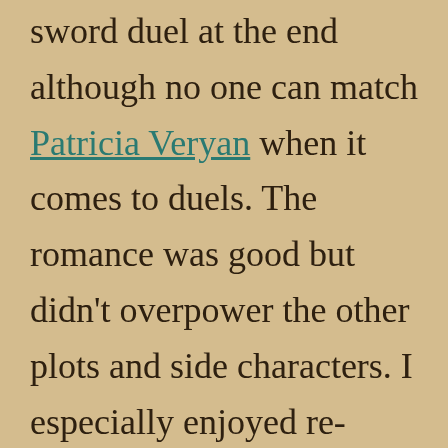sword duel at the end although no one can match Patricia Veryan when it comes to duels. The romance was good but didn't overpower the other plots and side characters. I especially enjoyed re-visiting Antonia and the elder Roxton, Julian's father, once again. There were some interesting reveals and some twists near the end that I didn't see coming. That is always